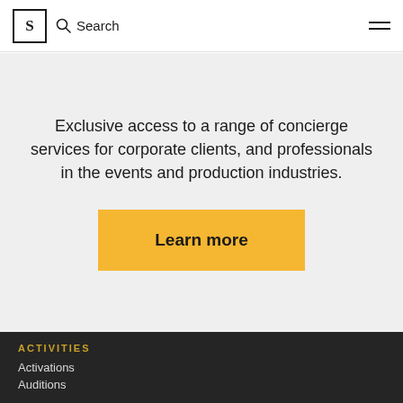S | Search ≡
Exclusive access to a range of concierge services for corporate clients, and professionals in the events and production industries.
Learn more
ACTIVITIES
Activations
Auditions